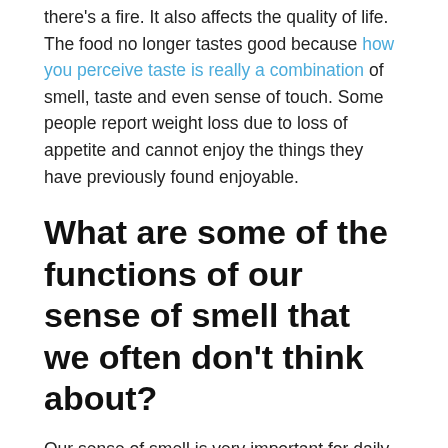there's a fire. It also affects the quality of life. The food no longer tastes good because how you perceive taste is really a combination of smell, taste and even sense of touch. Some people report weight loss due to loss of appetite and cannot enjoy the things they have previously found enjoyable.
What are some of the functions of our sense of smell that we often don't think about?
Our sense of smell is very important for daily functions. There is research that suggests that our sense of smell can influence ours attraction for certain people unconsciously. It's one of the ways we select mates that don't resemble us genetically, which can be an advantage for breeding. It can also help us detect fear in others, which is important for